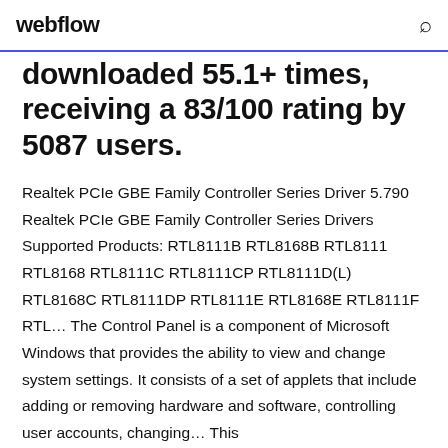webflow
downloaded 55.1+ times, receiving a 83/100 rating by 5087 users.
Realtek PCIe GBE Family Controller Series Driver 5.790 Realtek PCIe GBE Family Controller Series Drivers Supported Products: RTL8111B RTL8168B RTL8111 RTL8168 RTL8111C RTL8111CP RTL8111D(L) RTL8168C RTL8111DP RTL8111E RTL8168E RTL8111F RTL… The Control Panel is a component of Microsoft Windows that provides the ability to view and change system settings. It consists of a set of applets that include adding or removing hardware and software, controlling user accounts, changing… This